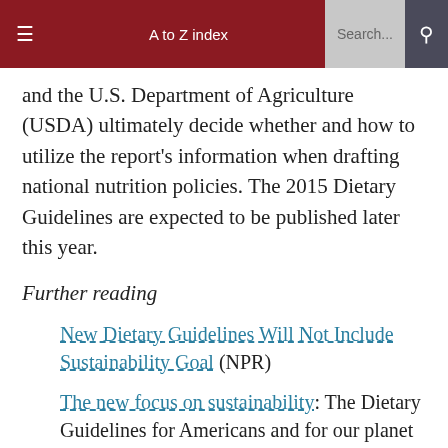≡  A to Z index  Search...  🔍
and the U.S. Department of Agriculture (USDA) ultimately decide whether and how to utilize the report's information when drafting national nutrition policies. The 2015 Dietary Guidelines are expected to be published later this year.
Further reading
New Dietary Guidelines Will Not Include Sustainability Goal (NPR)
The new focus on sustainability: The Dietary Guidelines for Americans and for our planet
References